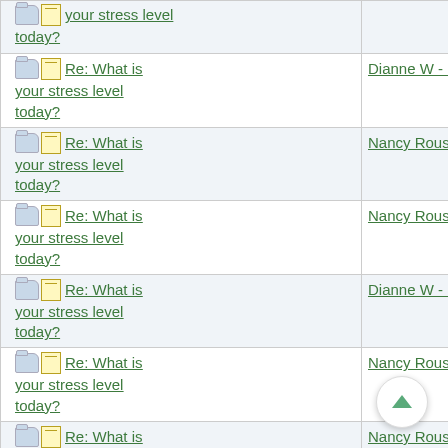| Thread | Author | Date |
| --- | --- | --- |
| Re: What is your stress level today? |  |  |
| Re: What is your stress level today? | Dianne W - Editor | 08/14/13 03:18 PM |
| Re: What is your stress level today? | Nancy Roussy | 08/14/13 04:14 PM |
| Re: What is your stress level today? | Nancy Roussy | 08/14/13 05:00 PM |
| Re: What is your stress level today? | Dianne W - Editor | 08/14/13 06:58 PM |
| Re: What is your stress level today? | Nancy Roussy | 08/14/13 07:56 PM |
| Re: What is your stress level today? | Nancy Roussy | 08/15/13 05:17 PM |
| Re: What is your stress level today? | Chelle Marriage - Marriage Editor | 08/15/13 05:18 PM |